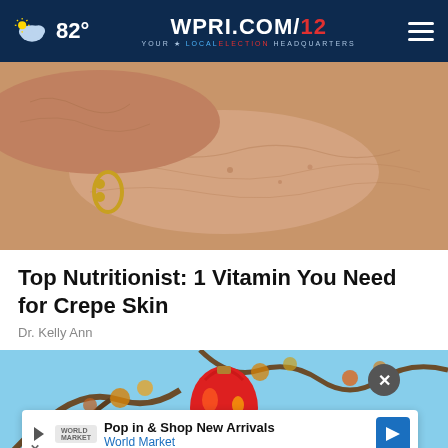82° WPRI.COM 12 YOUR LOCAL ELECTION HEADQUARTERS
[Figure (photo): Close-up photo of elderly person's arms/skin showing crepe-like texture, with a gold bracelet visible on the wrist]
Top Nutritionist: 1 Vitamin You Need for Crepe Skin
Dr. Kelly Ann
[Figure (photo): Outdoor photo showing a colorful red ornament or decoration hanging from a tree with autumn leaves and blue sky visible]
Pop in & Shop New Arrivals World Market